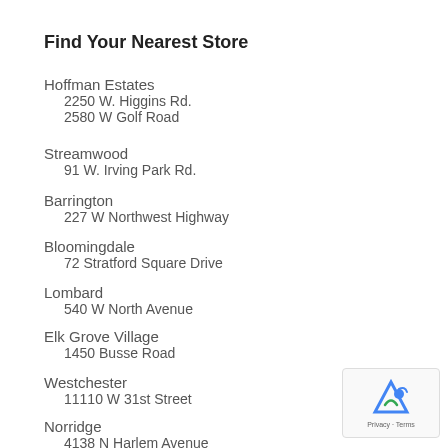Find Your Nearest Store
Hoffman Estates
    2250 W. Higgins Rd.
    2580 W Golf Road
Streamwood
    91 W. Irving Park Rd.
Barrington
    227 W Northwest Highway
Bloomingdale
    72 Stratford Square Drive
Lombard
    540 W North Avenue
Elk Grove Village
    1450 Busse Road
Westchester
    11110 W 31st Street
Norridge
    4138 N Harlem Avenue
LaGrange